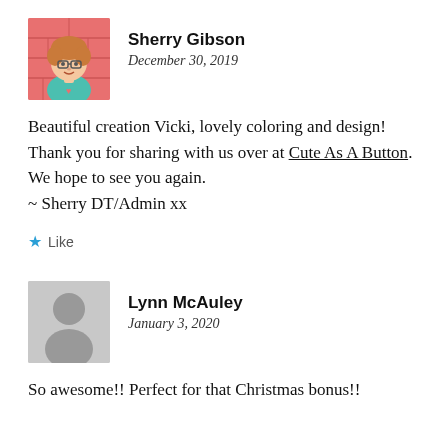[Figure (illustration): Avatar of Sherry Gibson: cartoon illustration of a woman with curly hair and glasses on a pink/red background]
Sherry Gibson
December 30, 2019
Beautiful creation Vicki, lovely coloring and design! Thank you for sharing with us over at Cute As A Button. We hope to see you again.
~ Sherry DT/Admin xx
Like
[Figure (illustration): Generic gray avatar silhouette of a person on a light gray background]
Lynn McAuley
January 3, 2020
So awesome!! Perfect for that Christmas bonus!!